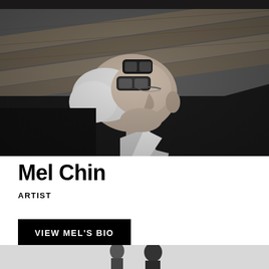[Figure (photo): Black and white photograph of Mel Chin, an older man with white/silver hair, wearing glasses pushed up on his forehead, lying back on wooden slats, looking upward, wearing a white collared shirt against a dark background.]
Mel Chin
ARTIST
VIEW MEL'S BIO
[Figure (photo): Partial black and white photograph visible at the bottom of the page showing figures, cropped.]